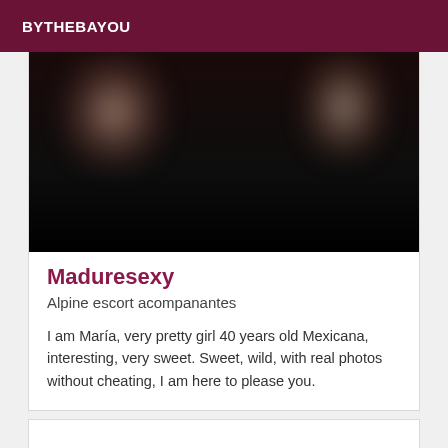BYTHEBAYOU
[Figure (photo): Blurred/dark photo with indistinct figures against black background]
Maduresexy
Alpine escort acompanantes
I am María, very pretty girl 40 years old Mexicana, interesting, very sweet. Sweet, wild, with real photos without cheating, I am here to please you.